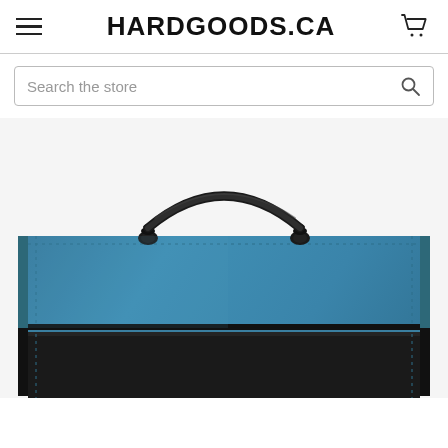HARDGOODS.CA
Search the store
[Figure (photo): A teal and black leather briefcase with a black handle, photographed from the front on a white background. The briefcase has a large teal upper panel with stitched edges and a black lower section.]